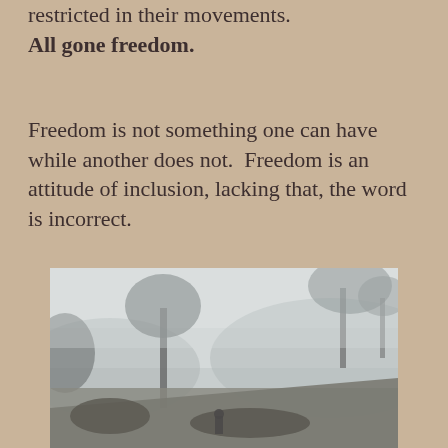restricted in their movements. All gone freedom.
Freedom is not something one can have while another does not.  Freedom is an attitude of inclusion, lacking that, the word is incorrect.
[Figure (photo): A foggy outdoor scene with trees silhouetted in mist, a hillside or garden path, and what appears to be a person visible at the bottom center of the image.]